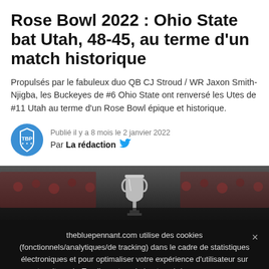Rose Bowl 2022 : Ohio State bat Utah, 48-45, au terme d'un match historique
Propulsés par le fabuleux duo QB CJ Stroud / WR Jaxon Smith-Njigba, les Buckeyes de #6 Ohio State ont renversé les Utes de #11 Utah au terme d'un Rose Bowl épique et historique.
Publié il y a 8 mois le 2 janvier 2022
Par La rédaction
[Figure (photo): Dark stadium photo with a trophy silhouette in the foreground, crowd and red-clad fans blurred in background]
thebluepennant.com utilise des cookies (fonctionnels/analytiques/de tracking) dans le cadre de statistiques électroniques et pour optimaliser votre expérience d'utilisateur sur notre site web. En cliquant sur le bouton ci-dessus vous nous donnez votre accord.
J'accepte   Je refuse   En savoir plus